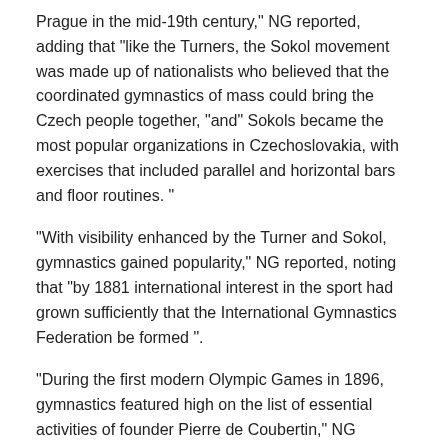Prague in the mid-19th century," NG reported, adding that "like the Turners, the Sokol movement was made up of nationalists who believed that the coordinated gymnastics of mass could bring the Czech people together, "and" Sokols became the most popular organizations in Czechoslovakia, with exercises that included parallel and horizontal bars and floor routines. "
“With visibility enhanced by the Turner and Sokol, gymnastics gained popularity,” NG reported, noting that “by 1881 international interest in the sport had grown sufficiently that the International Gymnastics Federation be formed ”.
“During the first modern Olympic Games in 1896, gymnastics featured high on the list of essential activities of founder Pierre de Coubertin,” NG reported, noting that “71 male competitors took part in eight gymnastics events, including rope climbing ”, and” no surprises. , Germany swept away the medals, winning five gold, three silver and two bronze. Greece followed with six medals, behind Switzerland’s three.
“In the years that followed, gymnastics evolved into a defined sport